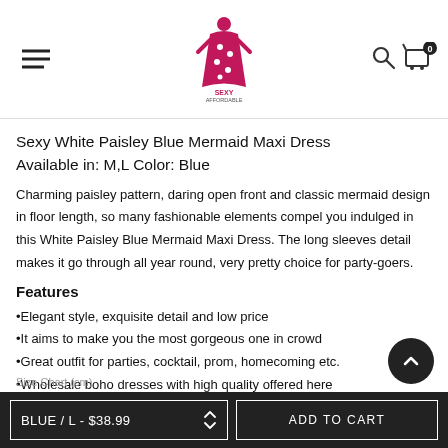Sexy Affordable (logo)
Sexy White Paisley Blue Mermaid Maxi Dress
Available in: M,L Color: Blue
Charming paisley pattern, daring open front and classic mermaid design in floor length, so many fashionable elements compel you indulged in this White Paisley Blue Mermaid Maxi Dress. The long sleeves detail makes it go through all year round, very pretty choice for party-goers.
Features
•Elegant style, exquisite detail and low price
•It aims to make you the most gorgeous one in crowd
•Great outfit for parties, cocktail, prom, homecoming etc.
•Wholesale boho dresses with high quality offered here
BLUE / L - $38.99   ADD TO CART